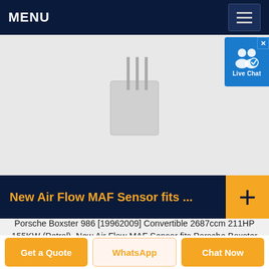MENU
[Figure (photo): Product image area showing a MAF sensor with vertical pins/lines visible against a light gray background, with a Live Chat button overlay in the top right corner]
New Air Flow MAF Sensor fits ...
Porsche Boxster 986 [19962009] Convertible 2687ccm 211HP 155KW (Petrol). New Air Flow MAF Sensor fits Porsche Boxster Cayman BOSCH 0280218145 | eBay Manufacturer Part Number...